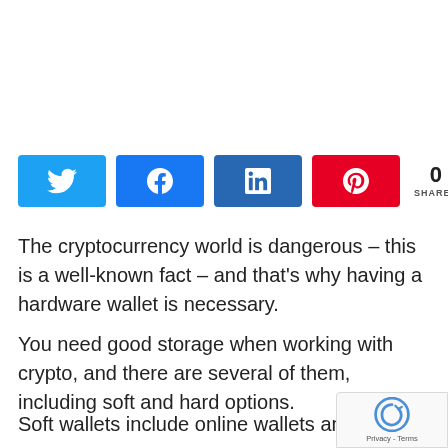[Figure (other): Social sharing buttons row: Twitter (blue), Facebook (blue), LinkedIn (dark blue), Pinterest (red), and a share count showing 0 SHARES]
The cryptocurrency world is dangerous – this is a well-known fact – and that's why having a hardware wallet is necessary.
You need good storage when working with crypto, and there are several of them, including soft and hard options.
Soft wallets include online wallets and